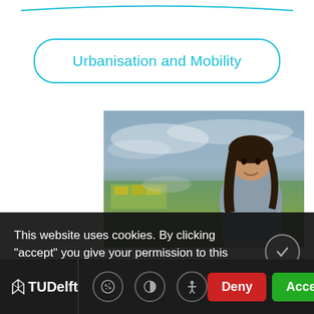Urbanisation and Mobility
[Figure (photo): Woman with dark hair sitting outdoors in front of green fields with yellow flowers and a cloudy sky, wearing a light blue/grey jacket. Partially obscured by cookie consent banner.]
This website uses cookies. By clicking "accept" you give your permission to this website to use cookies. What are cookies?
TUDelft | [cookie icon] [contrast icon] [accessibility icon] | Deny | Accept